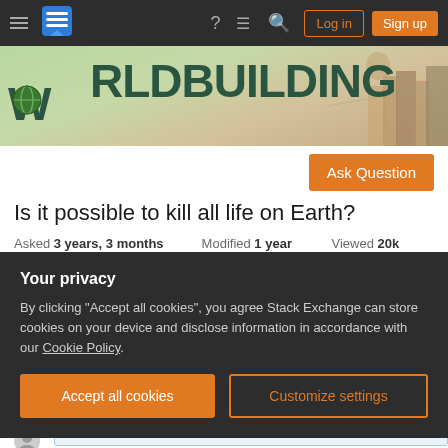Worldbuilding Stack Exchange — Navigation bar with Log in and Sign up buttons
[Figure (illustration): Worldbuilding Stack Exchange banner with fantasy cityscape and globe logo]
Ask Question
Is it possible to kill all life on Earth?
Asked 3 years, 3 months ago  Modified 1 year ago  Viewed 20k times
Your privacy
By clicking "Accept all cookies", you agree Stack Exchange can store cookies on your device and disclose information in accordance with our Cookie Policy.
Accept all cookies  Customize settings